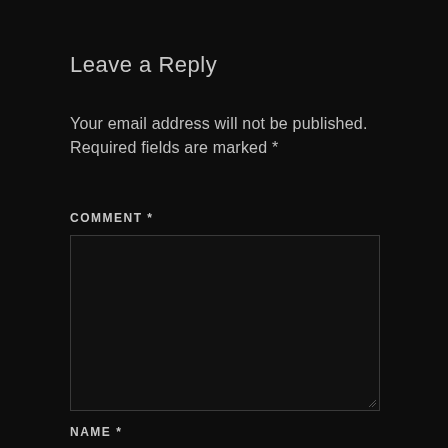Leave a Reply
Your email address will not be published. Required fields are marked *
COMMENT *
[Figure (other): Empty comment text area input box with dark background and border, with resize handle in bottom-right corner]
NAME *